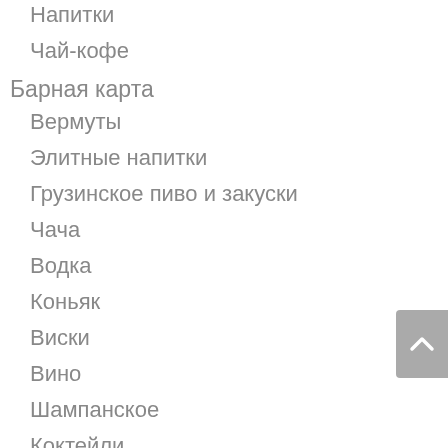Напитки
Чай-кофе
Барная карта
Вермуты
Элитные напитки
Грузинское пиво и закуски
Чача
Водка
Коньяк
Виски
Вино
Шампанское
Коктейли